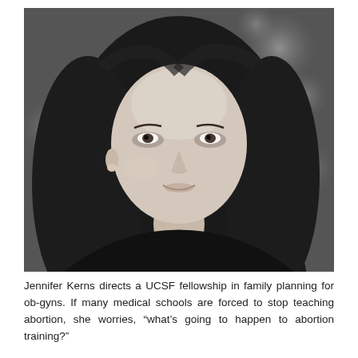[Figure (photo): Black and white portrait photograph of Jennifer Kerns, a woman with long dark hair, wearing dark clothing and a delicate necklace, looking slightly upward. Bokeh background.]
Jennifer Kerns directs a UCSF fellowship in family planning for ob-gyns. If many medical schools are forced to stop teaching abortion, she worries, “what’s going to happen to abortion training?”